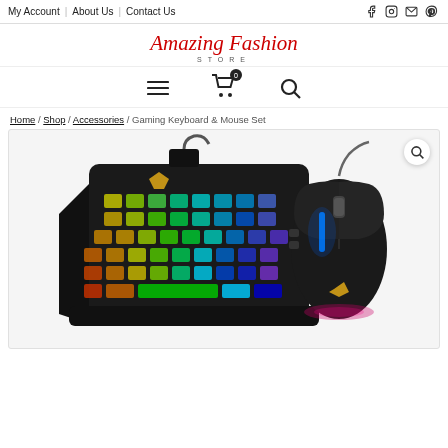My Account | About Us | Contact Us
[Figure (logo): Amazing Fashion Store logo in red italic script with STORE in spaced capitals below]
[Figure (infographic): Navigation icon bar with hamburger menu, shopping cart with 0 badge, and search icon]
Home / Shop / Accessories / Gaming Keyboard & Mouse Set
[Figure (photo): Product photo of a gaming RGB one-handed keyboard with rainbow backlight and a black wired gaming mouse with blue RGB lighting, both on white background. A magnifying glass search icon appears in the top right corner of the image.]